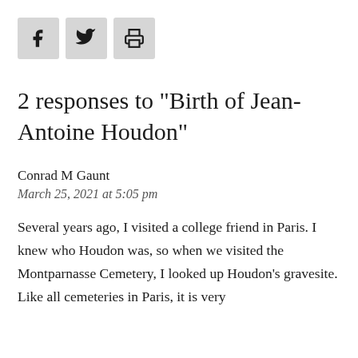[Figure (other): Social sharing icons: Facebook (f), Twitter (bird), and Print (printer) buttons as grey square buttons]
2 responses to "Birth of Jean-Antoine Houdon"
Conrad M Gaunt
March 25, 2021 at 5:05 pm
Several years ago, I visited a college friend in Paris. I knew who Houdon was, so when we visited the Montparnasse Cemetery, I looked up Houdon's gravesite. Like all cemeteries in Paris, it is very